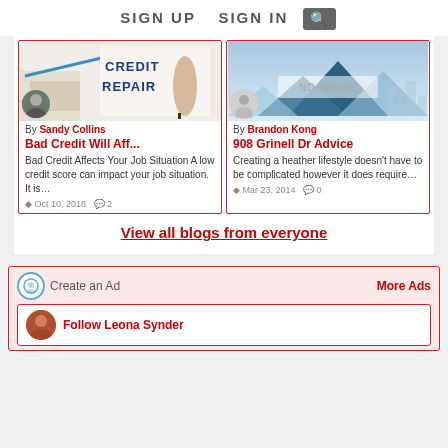SIGN UP   SIGN IN   🔍
[Figure (screenshot): Blog card image showing hand writing CREDIT REPAIR on paper with money]
By Sandy Collins
Bad Credit Will Aff...
Bad Credit Affects Your Job Situation A low credit score can impact your job situation. It is…
Oct 10, 2018   2
[Figure (illustration): Mountain landscape illustration with NO IMAGE text overlay]
By Brandon Kong
908 Grinell Dr Advice
Creating a heather lifestyle doesn't have to be complicated however it does require…
Mar 23, 2014   0
View all blogs from everyone
Create an Ad
More Ads
Follow Leona Synder